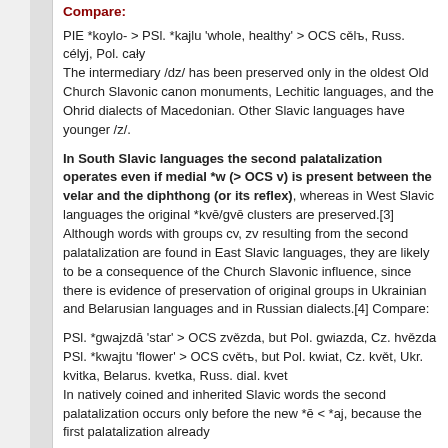Compare:
PIE *koylo- > PSl. *kajlu 'whole, healthy' > OCS cělъ, Russ. célyj, Pol. cały
The intermediary /dz/ has been preserved only in the oldest Old Church Slavonic canon monuments, Lechitic languages, and the Ohrid dialects of Macedonian. Other Slavic languages have younger /z/.
In South Slavic languages the second palatalization operates even if medial *w (> OCS v) is present between the velar and the diphthong (or its reflex), whereas in West Slavic languages the original *kvē/gvē clusters are preserved.[3] Although words with groups cv, zv resulting from the second palatalization are found in East Slavic languages, they are likely to be a consequence of the Church Slavonic influence, since there is evidence of preservation of original groups in Ukrainian and Belarusian languages and in Russian dialects.[4] Compare:
PSl. *gwajzdā 'star' > OCS zvězda, but Pol. gwiazda, Cz. hvězda
PSl. *kwajtu 'flower' > OCS cvětъ, but Pol. kwiat, Cz. květ, Ukr. kvitka, Belarus. kvetka, Russ. dial. kvet
In natively coined and inherited Slavic words the second palatalization occurs only before the new *ē < *aj, because the first palatalization already